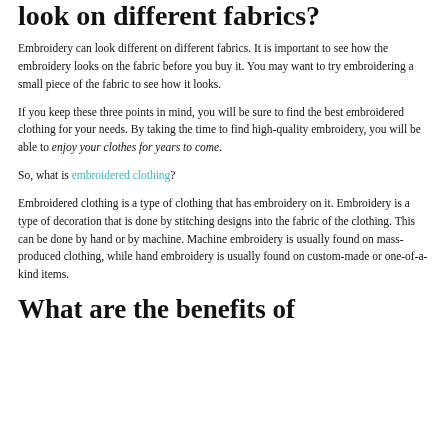look on different fabrics?
Embroidery can look different on different fabrics. It is important to see how the embroidery looks on the fabric before you buy it. You may want to try embroidering a small piece of the fabric to see how it looks.
If you keep these three points in mind, you will be sure to find the best embroidered clothing for your needs. By taking the time to find high-quality embroidery, you will be able to enjoy your clothes for years to come.
So, what is embroidered clothing?
Embroidered clothing is a type of clothing that has embroidery on it. Embroidery is a type of decoration that is done by stitching designs into the fabric of the clothing. This can be done by hand or by machine. Machine embroidery is usually found on mass-produced clothing, while hand embroidery is usually found on custom-made or one-of-a-kind items.
What are the benefits of